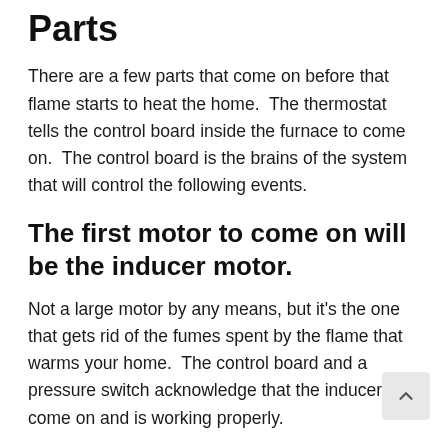Parts
There are a few parts that come on before that flame starts to heat the home.  The thermostat tells the control board inside the furnace to come on.  The control board is the brains of the system that will control the following events.
The first motor to come on will be the inducer motor.
Not a large motor by any means, but it's the one that gets rid of the fumes spent by the flame that warms your home.  The control board and a pressure switch acknowledge that the inducer has come on and is working properly.